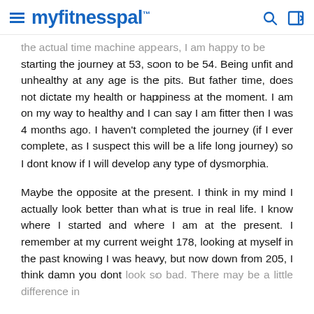myfitnesspal
the actual time machine appears, I am happy to be starting the journey at 53, soon to be 54. Being unfit and unhealthy at any age is the pits. But father time, does not dictate my health or happiness at the moment. I am on my way to healthy and I can say I am fitter then I was 4 months ago. I haven't completed the journey (if I ever complete, as I suspect this will be a life long journey) so I dont know if I will develop any type of dysmorphia.
Maybe the opposite at the present. I think in my mind I actually look better than what is true in real life. I know where I started and where I am at the present. I remember at my current weight 178, looking at myself in the past knowing I was heavy, but now down from 205, I think damn you dont look so bad. There may be a little difference in